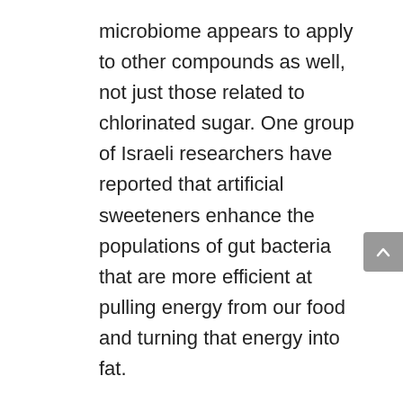microbiome appears to apply to other compounds as well, not just those related to chlorinated sugar. One group of Israeli researchers have reported that artificial sweeteners enhance the populations of gut bacteria that are more efficient at pulling energy from our food and turning that energy into fat.
My best advice is to avoid all sweeteners, but if you must use one, then choose a natural option, such as stevia or xylitol (or erythritol).